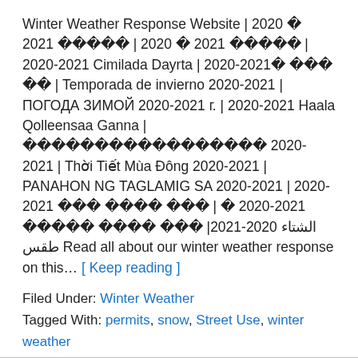Winter Weather Response Website | 2020 ? 2021 ?????? | 2020 ? 2021 ?????? | 2020-2021 Cimilada Dayrta | 2020-2021? ??? ?? | Temporada de invierno 2020-2021 | ПОГОДА ЗИМОЙ 2020-2021 г. | 2020-2021 Haala Qolleensaa Ganna | ????????????????? 2020-2021 | Thời Tiết Mùa Đông 2020-2021 | PANAHON NG TAGLAMIG SA 2020-2021 | 2020-2021 ??? ???? ??? | ? 2020-2021 ????? ???? ??? |2021-2020 الشتاء طقس Read all about our winter weather response on this... [ Keep reading ]
Filed Under: Winter Weather
Tagged With: permits, snow, Street Use, winter weather